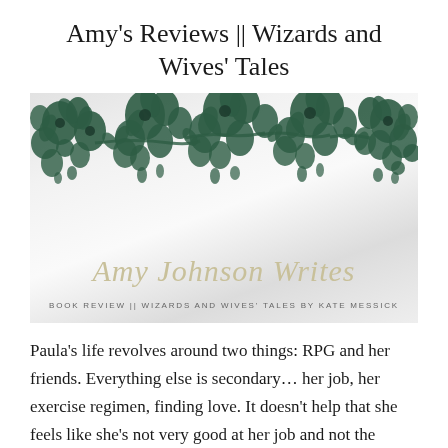Amy's Reviews || Wizards and Wives' Tales
[Figure (illustration): Banner image for 'Amy Johnson Writes' blog with dark green floral/botanical decorative design along the top on a silky white/grey draped fabric background, with 'Amy Johnson Writes' in cursive script and subtitle 'BOOK REVIEW || WIZARDS AND WIVES' TALES BY KATE MESSICK']
Paula's life revolves around two things: RPG and her friends. Everything else is secondary… her job, her exercise regimen, finding love. It doesn't help that she feels like she's not very good at her job and not the